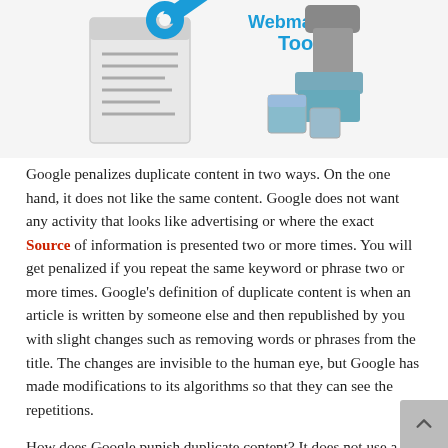[Figure (illustration): Illustration of Google Webmaster Tools logo with a wrench and a rubber stamp/seal tool on a light gray background]
Google penalizes duplicate content in two ways. On the one hand, it does not like the same content. Google does not want any activity that looks like advertising or where the exact Source of information is presented two or more times. You will get penalized if you repeat the same keyword or phrase two or more times. Google's definition of duplicate content is when an article is written by someone else and then republished by you with slight changes such as removing words or phrases from the title. The changes are invisible to the human eye, but Google has made modifications to its algorithms so that they can see the repetitions.
How does Google punish duplicate content? It does not use a cap; it does not slap a big red "duplicate content penalty" badge on your web browser. What it does do is